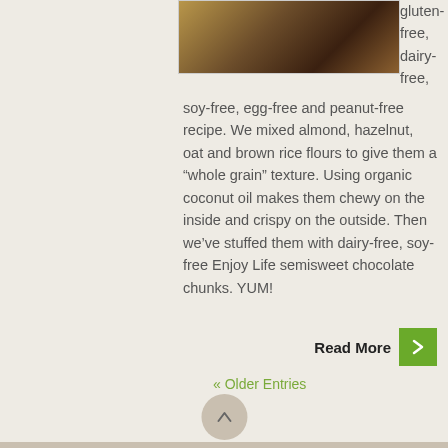[Figure (photo): Food photo showing chocolate chip cookie or similar baked good, cropped at top]
gluten-free, dairy-free, soy-free, egg-free and peanut-free recipe. We mixed almond, hazelnut, oat and brown rice flours to give them a “whole grain” texture. Using organic coconut oil makes them chewy on the inside and crispy on the outside. Then we’ve stuffed them with dairy-free, soy-free Enjoy Life semisweet chocolate chunks. YUM!
Read More
« Older Entries
Back to top